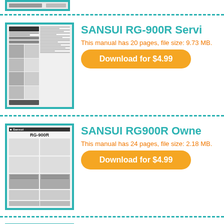[Figure (screenshot): Partial thumbnail of a manual at top of page (cropped)]
SANSUI RG-900R Servi...
This manual has 20 pages, file size: 9.73 MB.
Download for $4.99
[Figure (screenshot): Thumbnail image of SANSUI RG900R Owner's Manual cover]
SANSUI RG900R Owne...
This manual has 24 pages, file size: 2.18 MB.
Download for $4.99
[Figure (screenshot): Partial thumbnail of SANSUI RS-100 Service Manual at bottom of page]
SANSUI RS-100 Service...